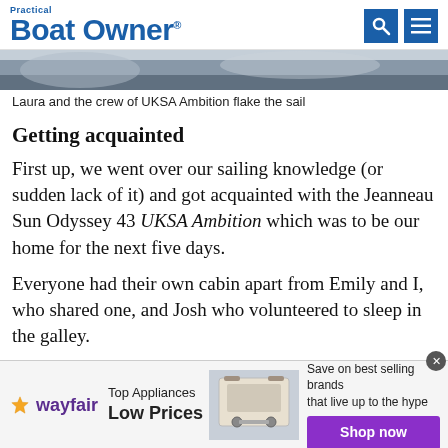Practical Boat Owner
[Figure (photo): Photo strip showing the crew of UKSA Ambition flaking the sail]
Laura and the crew of UKSA Ambition flake the sail
Getting acquainted
First up, we went over our sailing knowledge (or sudden lack of it) and got acquainted with the Jeanneau Sun Odyssey 43 UKSA Ambition which was to be our home for the next five days.
Everyone had their own cabin apart from Emily and I, who shared one, and Josh who volunteered to sleep in the galley.
We carried out a thorough stock check of all the
[Figure (other): Wayfair advertisement banner: Top Appliances Low Prices, Save on best selling brands that live up to the hype, Shop now button]